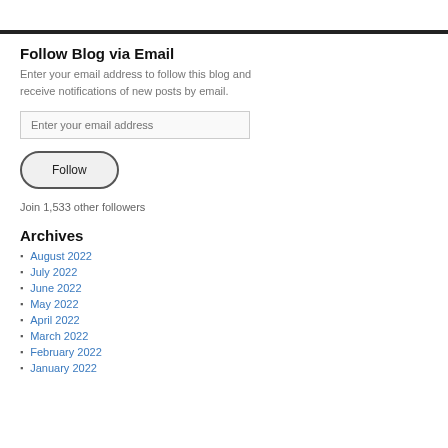Follow Blog via Email
Enter your email address to follow this blog and receive notifications of new posts by email.
Enter your email address
Follow
Join 1,533 other followers
Archives
August 2022
July 2022
June 2022
May 2022
April 2022
March 2022
February 2022
January 2022